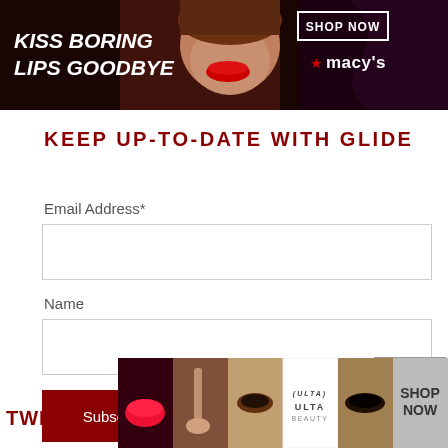[Figure (illustration): Banner advertisement: dark red background with woman model showing red lips, text 'KISS BORING LIPS GOODBYE', 'SHOP NOW' button, and Macy's star logo]
KEEP UP-TO-DATE WITH GLIDE
Email Address*
Name
Subscribe
CLOSE
TWITT
[Figure (illustration): Bottom advertisement strip with beauty/makeup images, ULTA Beauty logo, and SHOP NOW button]